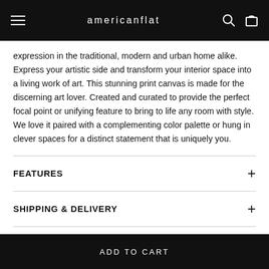americanflat
expression in the traditional, modern and urban home alike. Express your artistic side and transform your interior space into a living work of art. This stunning print canvas is made for the discerning art lover. Created and curated to provide the perfect focal point or unifying feature to bring to life any room with style. We love it paired with a complementing color palette or hung in clever spaces for a distinct statement that is uniquely you.
FEATURES
SHIPPING & DELIVERY
RETURNS
ADD TO CART